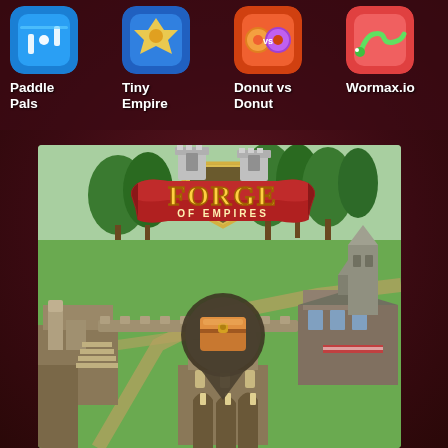Paddle Pals
Tiny Empire
Donut vs Donut
Wormax.io
[Figure (screenshot): Forge of Empires game screenshot showing a medieval city building game with a logo featuring a shield with 'FORGE OF EMPIRES' text on a red banner, and an isometric view of medieval buildings, roads, and a treasure chest map marker]